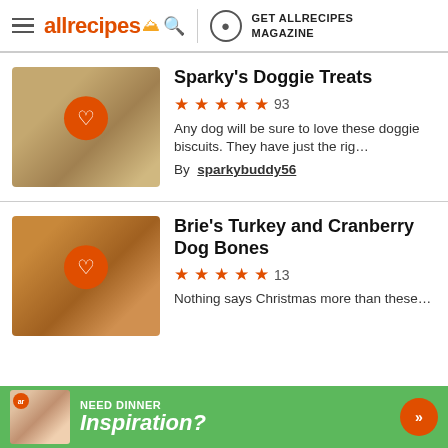allrecipes | GET ALLRECIPES MAGAZINE
Sparky's Doggie Treats
★★★★★ 93
Any dog will be sure to love these doggie biscuits. They have just the rig…
By sparkybuddy56
Brie's Turkey and Cranberry Dog Bones
★★★★★ 13
Nothing says Christmas more than these…
[Figure (photo): Dog biscuit treats in a bowl]
[Figure (photo): Turkey and cranberry dog bone cookies]
[Figure (infographic): Ad banner: Need Dinner Inspiration?]